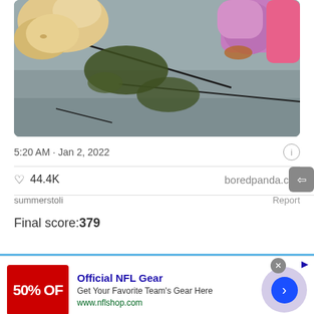[Figure (photo): Photo of a fluffy light-colored cat eating/sniffing crumbs or debris on a concrete sidewalk with a crack, next to pink and purple toy/container objects]
5:20 AM · Jan 2, 2022
♡ 44.4K   boredpanda.com
summerstoli   Report
Final score: 379
Official NFL Gear
Get Your Favorite Team's Gear Here
www.nflshop.com